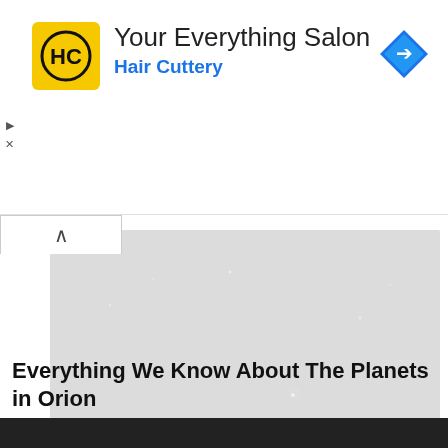[Figure (screenshot): Hair Cuttery ad banner with yellow HC logo, title 'Your Everything Salon', subtitle 'Hair Cuttery' in blue, and a blue navigation diamond icon on the right]
[Figure (photo): A pale gray astronomical image showing a star field with faint scattered points of light, representing planets or stars in the Orion constellation]
Everything We Know About The Planets in Orion
[Figure (screenshot): Dark bottom image strip, partially visible at the bottom of the page]